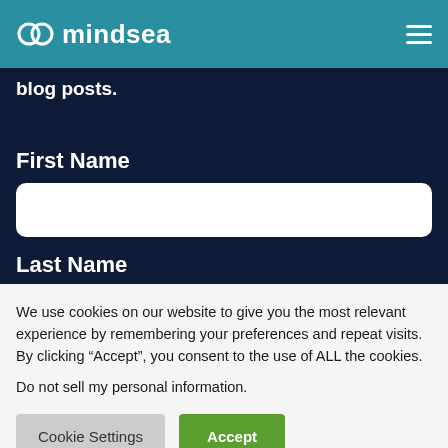mindsea
Stay up-to-date with all our weekly blog posts.
First Name
Last Name
We use cookies on our website to give you the most relevant experience by remembering your preferences and repeat visits. By clicking “Accept”, you consent to the use of ALL the cookies.
Do not sell my personal information.
Cookie Settings
Accept